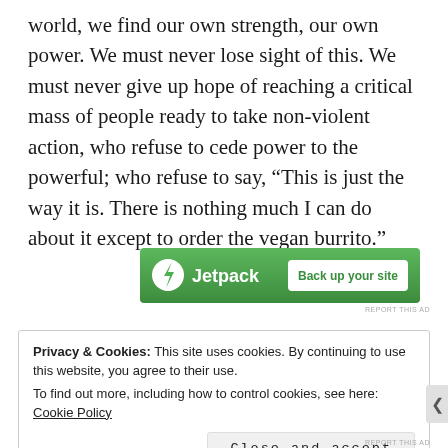world, we find our own strength, our own power. We must never lose sight of this. We must never give up hope of reaching a critical mass of people ready to take non-violent action, who refuse to cede power to the powerful; who refuse to say, “This is just the way it is. There is nothing much I can do about it except to order the vegan burrito.”
[Figure (other): Jetpack advertisement banner with green background showing Jetpack logo and 'Back up your site' button]
REPORT THIS AD
Privacy & Cookies: This site uses cookies. By continuing to use this website, you agree to their use.
To find out more, including how to control cookies, see here: Cookie Policy
Close and accept
REPORT THIS AD